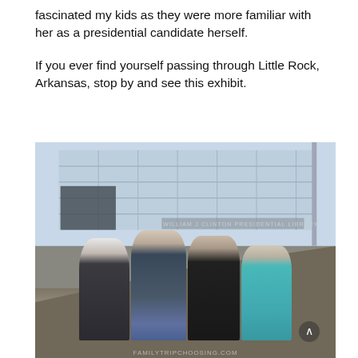fascinated my kids as they were more familiar with her as a presidential candidate herself.

If you ever find yourself passing through Little Rock, Arkansas, stop by and see this exhibit.
[Figure (photo): Four people (an older adult with white hair and three younger individuals) posing together outdoors in front of the William J Clinton Presidential Library building in Little Rock, Arkansas. The building has a modern glass facade. Text on building reads 'WILLIAM J CLINTON PRESIDENTIAL LIBRARY'. A watermark at the bottom reads a family travel blog URL.]